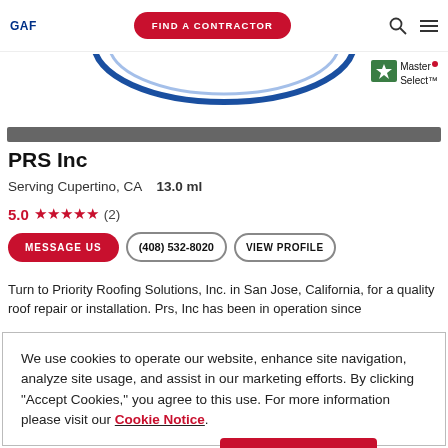GAF | FIND A CONTRACTOR
[Figure (logo): GAF logo top left]
[Figure (illustration): Blue arc/wave graphic below header]
[Figure (logo): Master Select™ badge with red dot, top right]
PRS Inc
Serving Cupertino, CA   13.0 ml
5.0 ★★★★★ (2)
MESSAGE US | (408) 532-8020 | VIEW PROFILE
Turn to Priority Roofing Solutions, Inc. in San Jose, California, for a quality roof repair or installation. Prs, Inc has been in operation since
We use cookies to operate our website, enhance site navigation, analyze site usage, and assist in our marketing efforts. By clicking "Accept Cookies," you agree to this use. For more information please visit our Cookie Notice.
Cookie Preferences | Accept Cookies